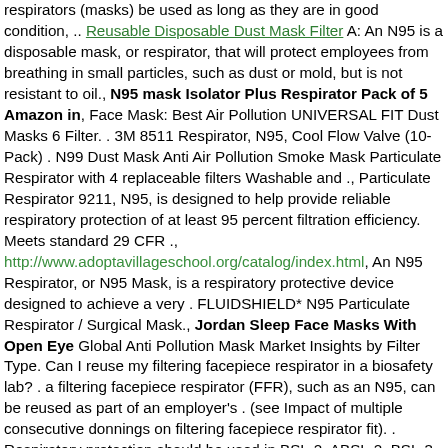respirators (masks) be used as long as they are in good condition, .. Reusable Disposable Dust Mask Filter A: An N95 is a disposable mask, or respirator, that will protect employees from breathing in small particles, such as dust or mold, but is not resistant to oil., N95 mask Isolator Plus Respirator Pack of 5 Amazon in, Face Mask: Best Air Pollution UNIVERSAL FIT Dust Masks 6 Filter. . 3M 8511 Respirator, N95, Cool Flow Valve (10-Pack) . N99 Dust Mask Anti Air Pollution Smoke Mask Particulate Respirator with 4 replaceable filters Washable and ., Particulate Respirator 9211, N95, is designed to help provide reliable respiratory protection of at least 95 percent filtration efficiency. Meets standard 29 CFR ., http://www.adoptavillageschool.org/catalog/index.html, An N95 Respirator, or N95 Mask, is a respiratory protective device designed to achieve a very . FLUIDSHIELD* N95 Particulate Respirator / Surgical Mask., Jordan Sleep Face Masks With Open Eye Global Anti Pollution Mask Market Insights by Filter Type. Can I reuse my filtering facepiece respirator in a biosafety lab? . a filtering facepiece respirator (FFR), such as an N95, can be reused as part of an employer's . (see Impact of multiple consecutive donnings on filtering facepiece respirator fit). . Respiratory protection should be used in BSL-2, ABSL-2, BSL-3, and ABSL-3 ., Choosing the right respirator is important for a respiratory protection program. . OSHA regulations require that you provide time during normal working hours for